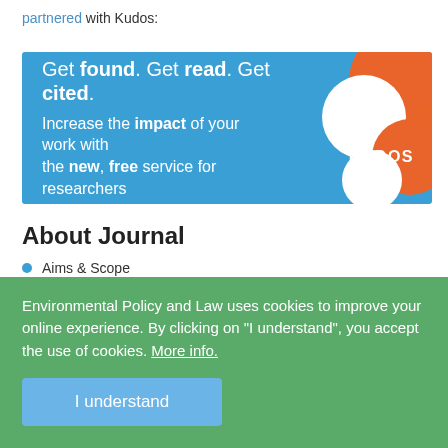partnered with Kudos:
[Figure (illustration): Kudos promotional banner with blue background. Text reads: Get found. Get read. Get cited. Increase the impact of your work with the new, free service for researchers. Orange and white decorative circles with KUDOS logo on the right.]
About Journal
Aims & Scope
Environmental Policy and Law uses cookies to improve your online experience. By clicking on "I understand", you accept the use of cookies. More info.